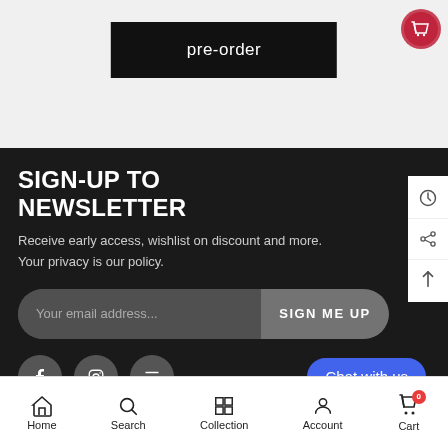[Figure (screenshot): Pre-order button - black rectangular button with white text 'pre-order' on a light gray background]
[Figure (illustration): Red circular cart icon in top right corner]
SIGN-UP TO NEWSLETTER
Receive early access, wishlist on discount and more. Your privacy is our policy.
[Figure (screenshot): Email signup form with 'Your email address...' placeholder input and 'SIGN ME UP' button]
[Figure (illustration): Social media icon buttons (Facebook, Instagram) partially visible]
[Figure (illustration): Blue 'Chat with us' button in bottom right]
[Figure (screenshot): Bottom navigation bar with Home, Search, Collection, Account, Cart icons]